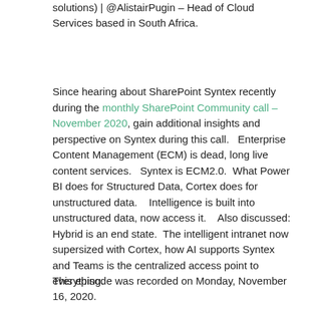solutions) | @AlistairPugin – Head of Cloud Services based in South Africa.
Since hearing about SharePoint Syntex recently during the monthly SharePoint Community call – November 2020, gain additional insights and perspective on Syntex during this call.   Enterprise Content Management (ECM) is dead, long live content services.   Syntex is ECM2.0.  What Power BI does for Structured Data, Cortex does for unstructured data.    Intelligence is built into unstructured data, now access it.    Also discussed: Hybrid is an end state.  The intelligent intranet now supersized with Cortex, how AI supports Syntex and Teams is the centralized access point to everything.
This episode was recorded on Monday, November 16, 2020.